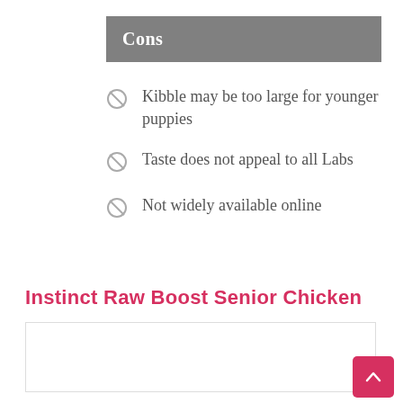Cons
Kibble may be too large for younger puppies
Taste does not appeal to all Labs
Not widely available online
Instinct Raw Boost Senior Chicken
[Figure (other): Product image box placeholder]